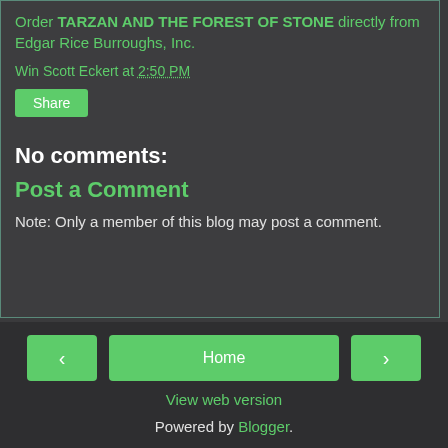Order TARZAN AND THE FOREST OF STONE directly from Edgar Rice Burroughs, Inc.
Win Scott Eckert at 2:50 PM
Share
No comments:
Post a Comment
Note: Only a member of this blog may post a comment.
< Home > View web version Powered by Blogger.